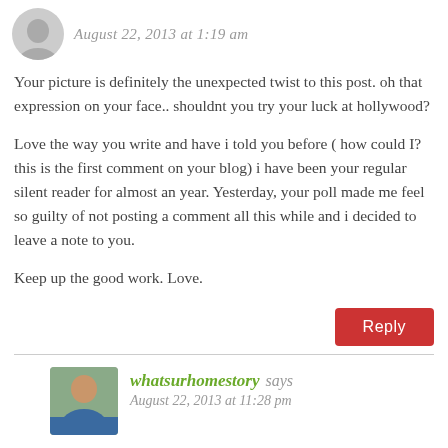August 22, 2013 at 1:19 am
Your picture is definitely the unexpected twist to this post. oh that expression on your face.. shouldnt you try your luck at hollywood?
Love the way you write and have i told you before ( how could I? this is the first comment on your blog) i have been your regular silent reader for almost an year. Yesterday, your poll made me feel so guilty of not posting a comment all this while and i decided to leave a note to you.
Keep up the good work. Love.
Reply
whatsurhomestory says
August 22, 2013 at 11:28 pm